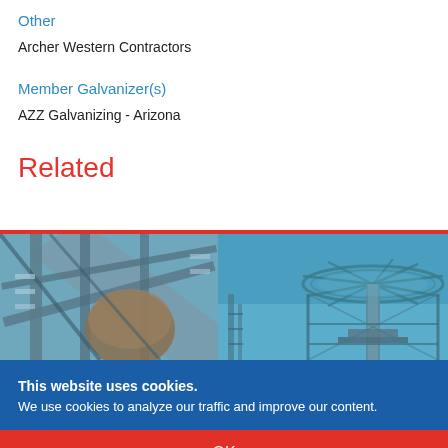Other
Archer Western Contractors
Member Galvanizer(s)
AZZ Galvanizing - Arizona
Related
[Figure (photo): Two industrial/structural galvanized steel photos side by side — left shows close-up of steel framing and pipes, right shows a circular galvanized steel structure against blue sky]
This website uses cookies. We use cookies to analyze our traffic and improve our content.
OK